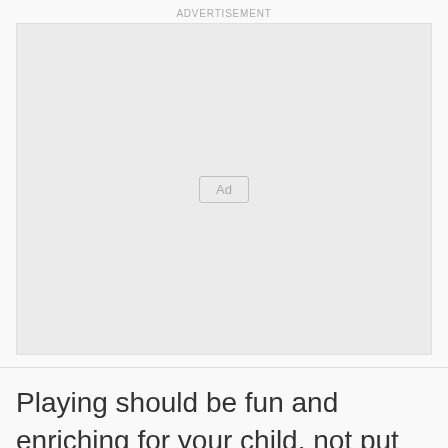ADVERTISEMENT
[Figure (other): Empty advertisement placeholder box with an 'Ad' button centered inside]
Playing should be fun and enriching for your child, not put them in harm's way. Luckily